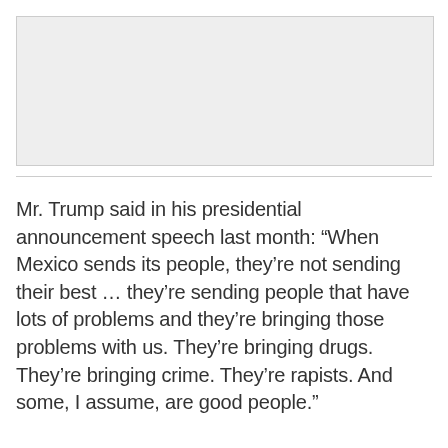[Figure (other): Gray placeholder image box]
Mr. Trump said in his presidential announcement speech last month: “When Mexico sends its people, they’re not sending their best … they’re sending people that have lots of problems and they’re bringing those problems with us. They’re bringing drugs. They’re bringing crime. They’re rapists. And some, I assume, are good people.”